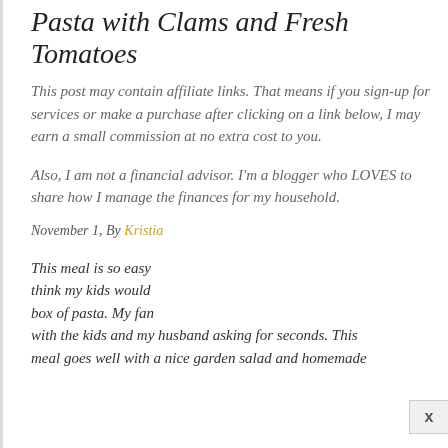Pasta with Clams and Fresh Tomatoes
This post may contain affiliate links. That means if you sign-up for services or make a purchase after clicking on a link below, I may earn a small commission at no extra cost to you.
Also, I am not a financial advisor. I'm a blogger who LOVES to share how I manage the finances for my household.
November 1, By Kristia
This meal is so easy think my kids would box of pasta. My fan with the kids and my husband asking for seconds. This meal goes well with a nice garden salad and homemade